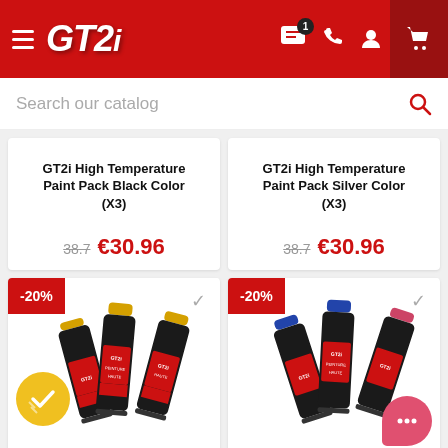GT2i navigation header with menu, logo, chat, phone, user, and cart icons
Search our catalog
GT2i High Temperature Paint Pack Black Color (X3) — old price: 38.7, new price: €30.96
GT2i High Temperature Paint Pack Silver Color (X3) — old price: 38.7, new price: €30.96
[Figure (photo): GT2i yellow high-temperature spray paint cans (x3) with -20% discount badge and yellow checkmark circle overlay]
[Figure (photo): GT2i blue high-temperature spray paint cans (x3) with -20% discount badge and pink chat bubble overlay]